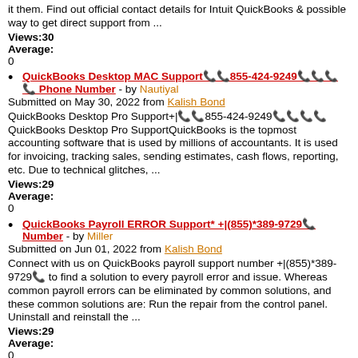it them. Find out official contact details for Intuit QuickBooks & possible way to get direct support from ...
Views:30
Average:
0
QuickBooks Desktop MAC Support📞📞855-424-9249📞📞📞📞 Phone Number - by Nautiyal
Submitted on May 30, 2022 from Kalish Bond
QuickBooks Desktop Pro Support+|📞📞855-424-9249📞📞📞📞 QuickBooks Desktop Pro SupportQuickBooks is the topmost accounting software that is used by millions of accountants. It is used for invoicing, tracking sales, sending estimates, cash flows, reporting, etc. Due to technical glitches, ...
Views:29
Average:
0
QuickBooks Payroll ERROR Support* +|(855)*389-9729📞 Number - by Miller
Submitted on Jun 01, 2022 from Kalish Bond
Connect with us on QuickBooks payroll support number +|(855)*389-9729📞 to find a solution to every payroll error and issue. Whereas common payroll errors can be eliminated by common solutions, and these common solutions are: Run the repair from the control panel. Uninstall and reinstall the ...
Views:29
Average:
0
quickbooks premier support phone number +1 855 200 0115